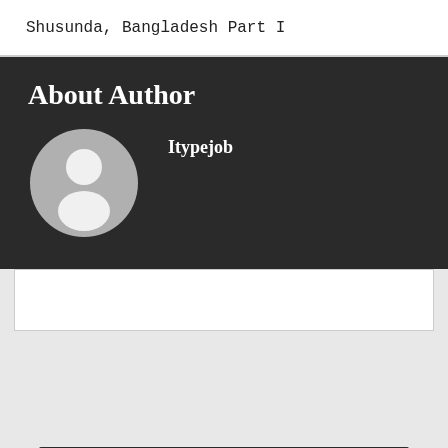Shusunda, Bangladesh Part I
About Author
Itypejob
[Figure (illustration): Default user avatar: a grey circle with a white silhouette of a person (head and shoulders)]